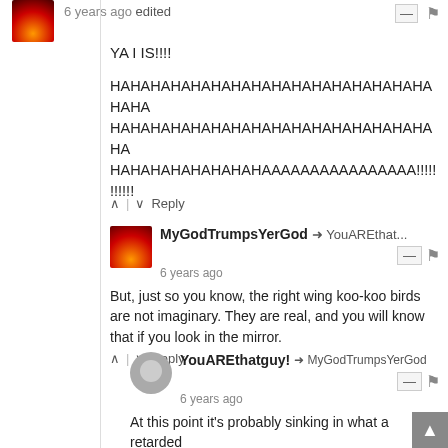6 years ago edited
YA I IS!!!!
HAHAHAHAHAHAHAHAHAHAHAHAHAHAHAHAHA
HAHAHAHAHAHAHAHAHAHAHAHAHAHAHAHAHA
HAHAHAHAHAHAHAHAAAAAAAAAAAAAAAA!!!!!!!!!!!
MyGodTrumpsYerGod → YouAREthat... 6 years ago
But, just so you know, the right wing koo-koo birds are not imaginary. They are real, and you will know that if you look in the mirror.
YouAREthatguy! → MyGodTrumpsYerGod 6 years ago
At this point it's probably sinking in what a retarded comment you made about imagination. And it was retarded. Because you're retarded.